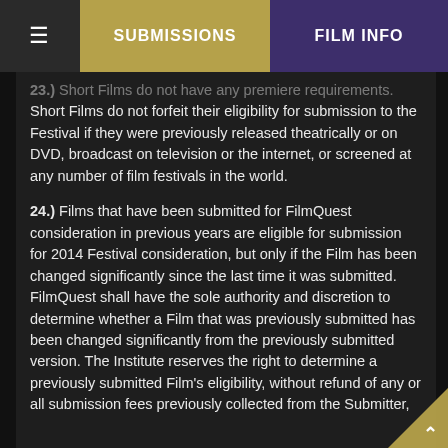SUBMISSIONS | FILM INFO
23.) Short Films do not have any premiere requirements. Short Films do not forfeit their eligibility for submission to the Festival if they were previously released theatrically or on DVD, broadcast on television or the internet, or screened at any number of film festivals in the world.
24.) Films that have been submitted for FilmQuest consideration in previous years are eligible for submission for 2014 Festival consideration, but only if the Film has been changed significantly since the last time it was submitted. FilmQuest shall have the sole authority and discretion to determine whether a Film that was previously submitted has been changed significantly from the previously submitted version. The Institute reserves the right to determine a previously submitted Film's eligibility, without refund of any or all submission fees previously collected from the Submitter, based on the content of the newly submitted version...